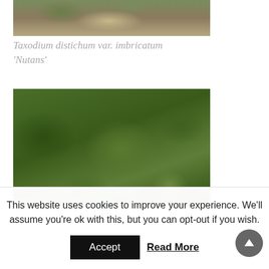[Figure (photo): Top portion of a photo showing ground vegetation and soil, cut off at top of page]
Taxodium distichum var. imbricatum 'Nutans'
[Figure (photo): Close-up photo of Taxodium distichum foliage — dense green feathery branches and needles]
This website uses cookies to improve your experience. We'll assume you're ok with this, but you can opt-out if you wish.
Accept
Read More